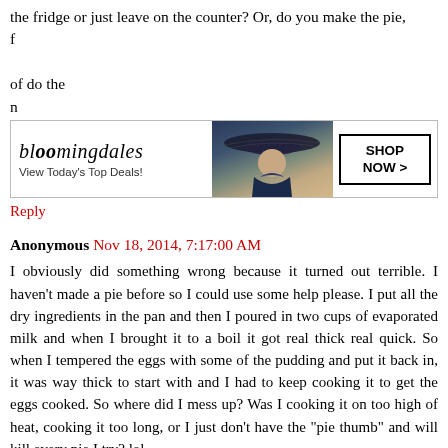the fridge or just leave on the counter? Or, do you make the pie, f...of do the n...
[Figure (screenshot): Bloomingdale's advertisement banner with logo, 'View Today's Top Deals!' tagline, image of woman in large hat, and 'SHOP NOW >' button]
Reply
Anonymous Nov 18, 2014, 7:17:00 AM
I obviously did something wrong because it turned out terrible. I haven't made a pie before so I could use some help please. I put all the dry ingredients in the pan and then I poured in two cups of evaporated milk and when I brought it to a boil it got real thick real quick. So when I tempered the eggs with some of the pudding and put it back in, it was way thick to start with and I had to keep cooking it to get the eggs cooked. So where did I mess up? Was I cooking it on too high of heat, cooking it too long, or I just don't have the "pie thumb" and will kill every pie I try? lol
Also, on the meringue powder topping....do you mix the ingredients minus half the sugar for 5 minutes and then add the remaining sugar and mix for 5 more minutes....because it got so thick and sticky it was almost hard to mix it in....once whipped, do